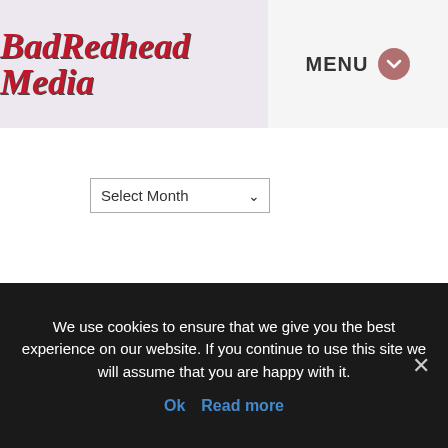BadRedhead Media — MENU
[Figure (other): Red separator line]
[Figure (screenshot): Select Month dropdown widget]
[Figure (logo): Z Network banner logo — red Z with NETWORK text on beige background]
We use cookies to ensure that we give you the best experience on our website. If you continue to use this site we will assume that you are happy with it. Ok  Read more